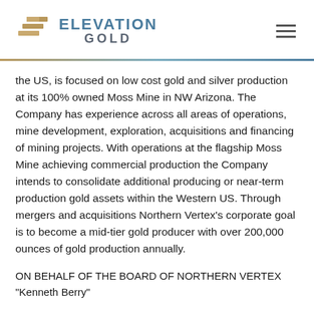[Figure (logo): Elevation Gold logo with stacked gold bars icon and 'ELEVATION GOLD' text in blue-grey]
the US, is focused on low cost gold and silver production at its 100% owned Moss Mine in NW Arizona. The Company has experience across all areas of operations, mine development, exploration, acquisitions and financing of mining projects. With operations at the flagship Moss Mine achieving commercial production the Company intends to consolidate additional producing or near-term production gold assets within the Western US. Through mergers and acquisitions Northern Vertex’s corporate goal is to become a mid-tier gold producer with over 200,000 ounces of gold production annually.
ON BEHALF OF THE BOARD OF NORTHERN VERTEX
“Kenneth Berry”